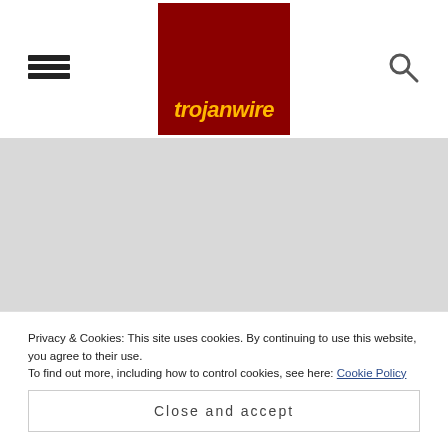[Figure (logo): Trojanwire logo: dark red/maroon square with yellow italic text 'trojanwire' at the bottom]
Privacy & Cookies: This site uses cookies. By continuing to use this website, you agree to their use.
To find out more, including how to control cookies, see here: Cookie Policy
Close and accept